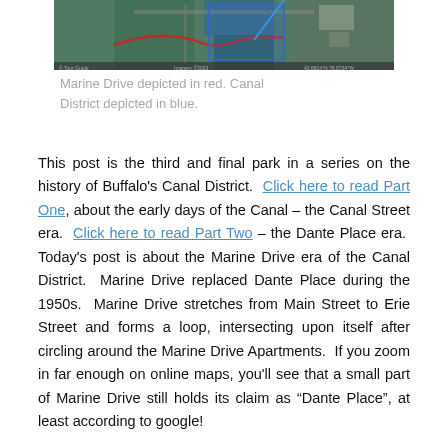[Figure (photo): Aerial satellite map image showing Marine Drive depicted in red and Canal District depicted in blue, with streets and waterways visible from above.]
Marine Drive depicted in red. Canal District depicted in blue.
This post is the third and final park in a series on the history of Buffalo's Canal District.  Click here to read Part One, about the early days of the Canal – the Canal Street era.  Click here to read Part Two – the Dante Place era.  Today's post is about the Marine Drive era of the Canal District.  Marine Drive replaced Dante Place during the 1950s.  Marine Drive stretches from Main Street to Erie Street and forms a loop, intersecting upon itself after circling around the Marine Drive Apartments.  If you zoom in far enough on online maps, you'll see that a small part of Marine Drive still holds its claim as “Dante Place”, at least according to google!